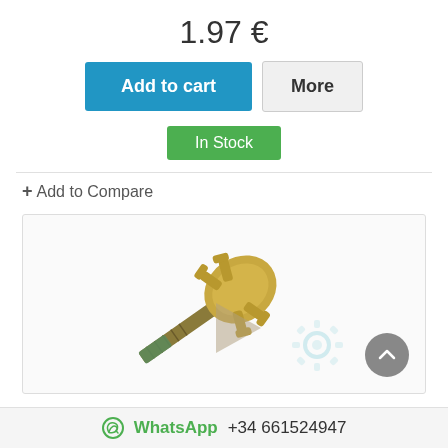1.97 €
Add to cart
More
In Stock
+ Add to Compare
[Figure (photo): Brass claw coupling fitting - a gold-colored metal connector with two wing-like claws and a threaded end, photographed on white background.]
WhatsApp +34 661524947